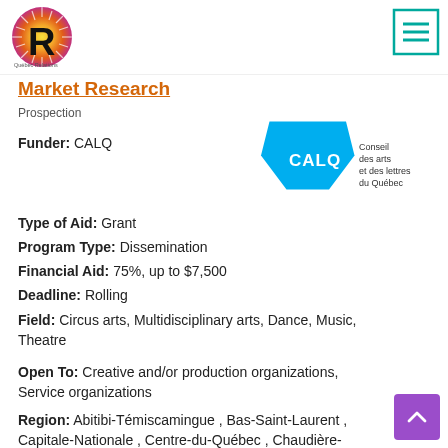[Figure (logo): Québec Relations logo - circular sunburst with letter R in black on colorful background]
[Figure (logo): Hamburger menu icon - three horizontal teal lines in teal border box]
Market Research
Prospection
[Figure (logo): CALQ logo - blue pentagon shape with white CALQ text, beside text reading Conseil des arts et des lettres du Québec]
Funder: CALQ
Type of Aid: Grant
Program Type: Dissemination
Financial Aid: 75%, up to $7,500
Deadline: Rolling
Field: Circus arts, Multidisciplinary arts, Dance, Music, Theatre
Open To: Creative and/or production organizations, Service organizations
Region: Abitibi-Témiscamingue , Bas-Saint-Laurent , Capitale-Nationale , Centre-du-Québec , Chaudière-